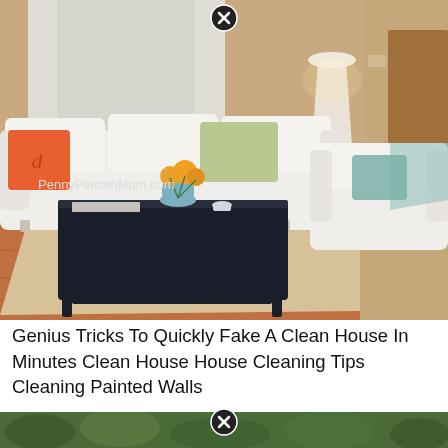[Figure (photo): A bright, clean living room with white slipcovered sofas and armchair, a dark wooden coffee table with orange flowers, a large neutral area rug, hardwood floors, sheer curtains, and a lamp on a side table. Watermark reads PennyPinchinMom.com]
Genius Tricks To Quickly Fake A Clean House In Minutes Clean House House Cleaning Tips Cleaning Painted Walls
[Figure (photo): Partial view of a second image below, showing green foliage, cut off at bottom of page. Has a close/X button overlay.]